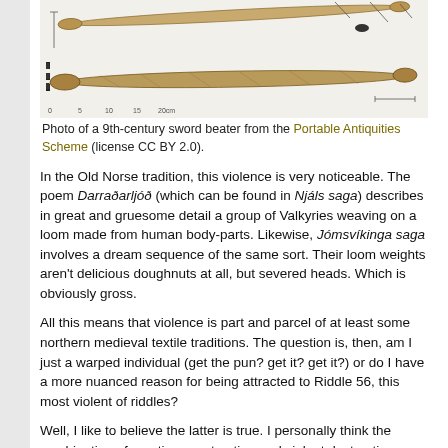[Figure (photo): Photo of a 9th-century sword beater, a long narrow bone or antler implement, shown from multiple angles with scale markers, from the Portable Antiquities Scheme.]
Photo of a 9th-century sword beater from the Portable Antiquities Scheme (license CC BY 2.0).
In the Old Norse tradition, this violence is very noticeable. The poem Darraðarljóð (which can be found in Njáls saga) describes in great and gruesome detail a group of Valkyries weaving on a loom made from human body-parts. Likewise, Jómsvíkinga saga involves a dream sequence of the same sort. Their loom weights aren't delicious doughnuts at all, but severed heads. Which is obviously gross.
All this means that violence is part and parcel of at least some northern medieval textile traditions. The question is, then, am I just a warped individual (get the pun? get it? get it?) or do I have a more nuanced reason for being attracted to Riddle 56, this most violent of riddles?
Well, I like to believe the latter is true. I personally think the combination of creative construction and violent destruction